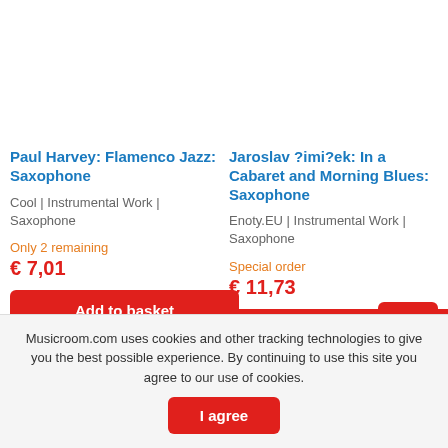Paul Harvey: Flamenco Jazz: Saxophone
Cool | Instrumental Work | Saxophone
Only 2 remaining
€ 7,01
Add to basket
Jaroslav ?imi?ek: In a Cabaret and Morning Blues: Saxophone
Enoty.EU | Instrumental Work | Saxophone
Special order
€ 11,73
Add to basket
Musicroom.com uses cookies and other tracking technologies to give you the best possible experience. By continuing to use this site you agree to our use of cookies.
I agree